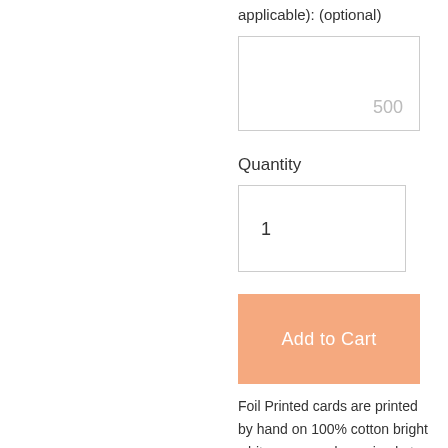applicable): (optional)
500
Quantity
1
Add to Cart
Foil Printed cards are printed by hand on 100% cotton bright white paper and are sized at 3.5"x2". Our paper is designed for letterpress and accepts a beautiful impression. Should you prefer an alternative paper or size, please email us orders@studio.olivine.com